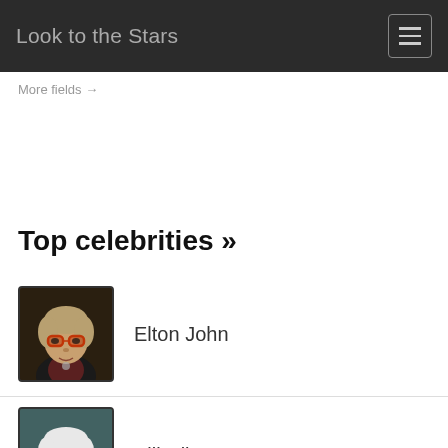Look to the Stars
More fields →
Top celebrities »
Elton John
Bill Clinton
Sting